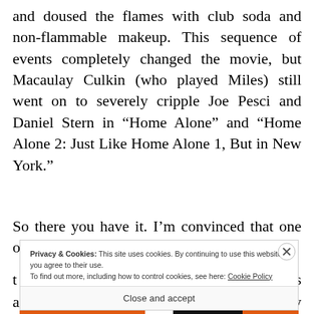and doused the flames with club soda and non-flammable makeup. This sequence of events completely changed the movie, but Macaulay Culkin (who played Miles) still went on to severely cripple Joe Pesci and Daniel Stern in “Home Alone” and “Home Alone 2: Just Like Home Alone 1, But in New York.”
So there you have it. I’m convinced that one of
Privacy & Cookies: This site uses cookies. By continuing to use this website, you agree to their use. To find out more, including how to control cookies, see here: Cookie Policy
Close and accept